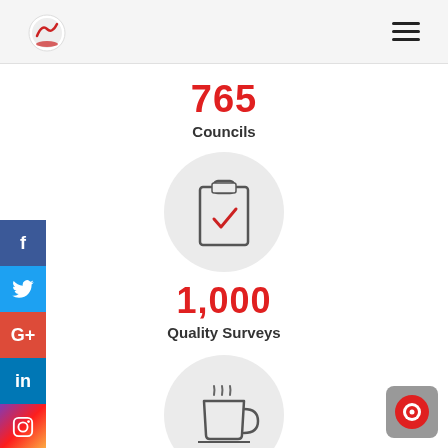[Figure (logo): Organization logo — circular red and white emblem in top-left header]
[Figure (infographic): Hamburger / menu icon (three horizontal lines) in top-right header]
765
Councils
[Figure (illustration): Circular grey icon with a clipboard and a red checkmark]
1,000
Quality Surveys
[Figure (illustration): Circular grey icon with a steaming coffee cup]
[Figure (infographic): Social media sidebar buttons: Facebook (blue), Twitter (light blue), Google+ (red), LinkedIn (dark blue), Instagram (gradient)]
[Figure (infographic): Grey chat/support button with red circle in bottom-right corner]